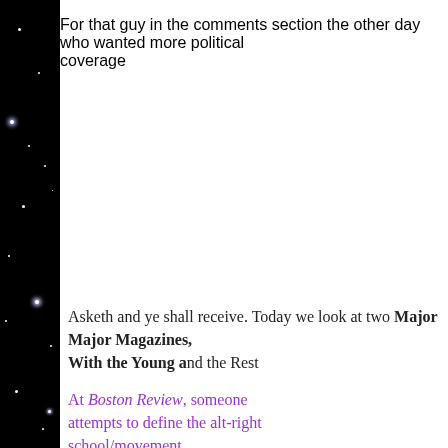For that guy in the comments section the other day who wanted more political coverage
Asketh and ye shall receive. Today we look at two Major Magazines... Major Magazines, Out of Touch With the Young and the Rest
At Boston Review, someone attempts to define the alt-right school/movement...